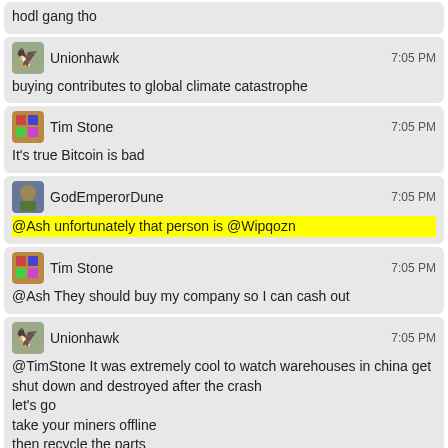hodl gang tho
Unionhawk 7:05 PM
buying contributes to global climate catastrophe
Tim Stone 7:05 PM
It's true Bitcoin is bad
GodEmperorDune 7:05 PM
@Ash unfortunately that person is @Wipqozn
Tim Stone 7:05 PM
@Ash They should buy my company so I can cash out
Unionhawk 7:05 PM
@TimStone It was extremely cool to watch warehouses in china get shut down and destroyed after the crash
let's go
take your miners offline
then recycle the parts
because those cards have been pushed to limits for a while and are probably no good anymore
Tim Stone 7:07 PM
A GTX 1080 in every home and a buttcoin sticker on ever car which you are also now not allowed to drive
Unionhawk 7:07 PM